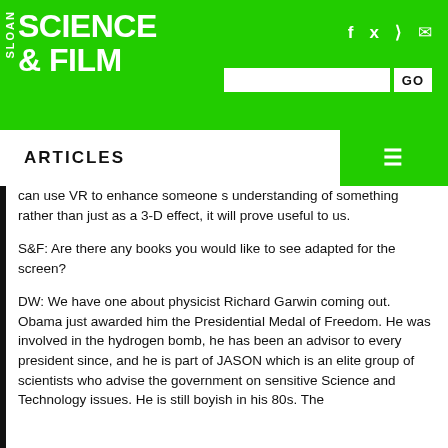SLOAN SCIENCE & FILM
ARTICLES
can use VR to enhance someone s understanding of something rather than just as a 3-D effect, it will prove useful to us.
S&F: Are there any books you would like to see adapted for the screen?
DW: We have one about physicist Richard Garwin coming out. Obama just awarded him the Presidential Medal of Freedom. He was involved in the hydrogen bomb, he has been an advisor to every president since, and he is part of JASON which is an elite group of scientists who advise the government on sensitive Science and Technology issues. He is still boyish in his 80s. The